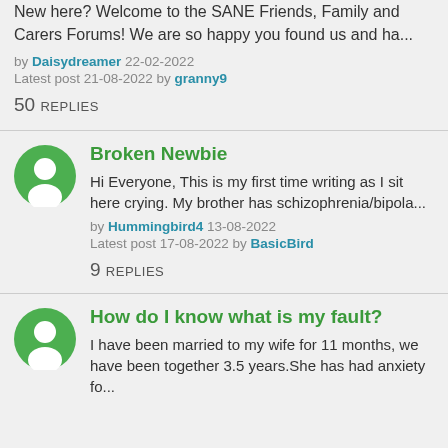New here? Welcome to the SANE Friends, Family and Carers Forums! We are so happy you found us and ha...
by Daisydreamer 22-02-2022
Latest post 21-08-2022 by granny9
50 REPLIES
Broken Newbie
Hi Everyone, This is my first time writing as I sit here crying. My brother has schizophrenia/bipola...
by Hummingbird4 13-08-2022
Latest post 17-08-2022 by BasicBird
9 REPLIES
How do I know what is my fault?
I have been married to my wife for 11 months, we have been together 3.5 years.She has had anxiety fo...